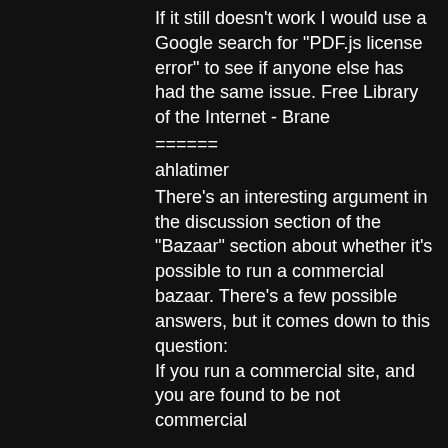If it still doesn't work I would use a Google search for "PDF.js license error" to see if anyone else has had the same issue. Free Library of the Internet - Brane
======
ahlatimer
There's an interesting argument in the discussion section of the "Bazaar" section about whether it's possible to run a commercial bazaar. There's a few possible answers, but it comes down to this question:
If you run a commercial site, and you are found to be not commercial
Graitec Arche OMD 2009 Fr.iso
Windows 10 v.1511 (x 86-x 64) AIO [28in2] by adguard June2016 [E